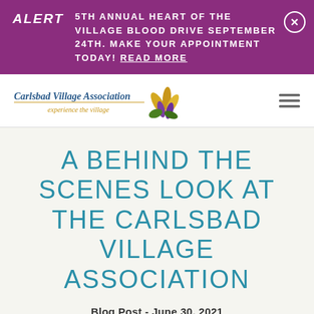ALERT  5TH ANNUAL HEART OF THE VILLAGE BLOOD DRIVE SEPTEMBER 24TH. MAKE YOUR APPOINTMENT TODAY! READ MORE
[Figure (logo): Carlsbad Village Association logo with stylized flower/leaf graphic and tagline 'experience the village']
A BEHIND THE SCENES LOOK AT THE CARLSBAD VILLAGE ASSOCIATION
Blog Post - June 30, 2021